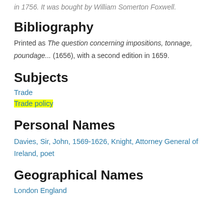in 1756. It was bought by William Somerton Foxwell.
Bibliography
Printed as The question concerning impositions, tonnage, poundage... (1656), with a second edition in 1659.
Subjects
Trade
Trade policy
Personal Names
Davies, Sir, John, 1569-1626, Knight, Attorney General of Ireland, poet
Geographical Names
London England